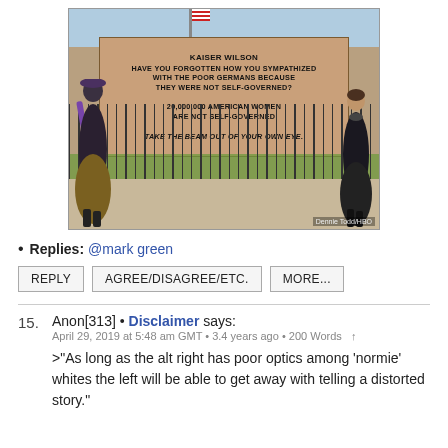[Figure (photo): Historical photograph of two women in dark clothing holding a large banner in front of a fence near the White House. The banner reads: 'KAISER WILSON HAVE YOU FORGOTTEN HOW YOU SYMPATHIZED WITH THE POOR GERMANS BECAUSE THEY WERE NOT SELF-GOVERNED? 20,000,000 AMERICAN WOMEN ARE NOT SELF-GOVERNED TAKE THE BEAM OUT OF YOUR OWN EYE.' Photo credit: Dennie Todd/HBO]
Replies: @mark green
REPLY   AGREE/DISAGREE/ETC.   MORE...
15. Anon[313] • Disclaimer says:
April 29, 2019 at 5:48 am GMT • 3.4 years ago • 200 Words ↑
>"As long as the alt right has poor optics among 'normie' whites the left will be able to get away with telling a distorted story."